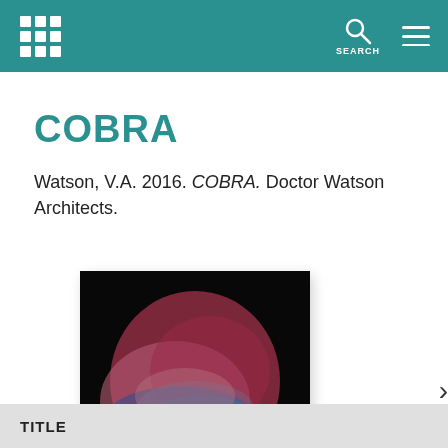COBRA — Library catalog page header with logo and search
COBRA
Watson, V.A. 2016. COBRA. Doctor Watson Architects.
[Figure (photo): Book cover thumbnail showing a blurred colorful abstract image on a dark background]
TITLE